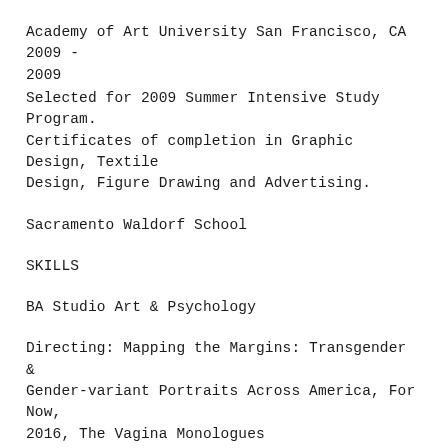Academy of Art University San Francisco, CA 2009 - 2009
Selected for 2009 Summer Intensive Study Program. Certificates of completion in Graphic Design, Textile Design, Figure Drawing and Advertising.
Sacramento Waldorf School
SKILLS
BA Studio Art & Psychology
Directing: Mapping the Margins: Transgender & Gender-variant Portraits Across America, For Now, 2016, The Vagina Monologues